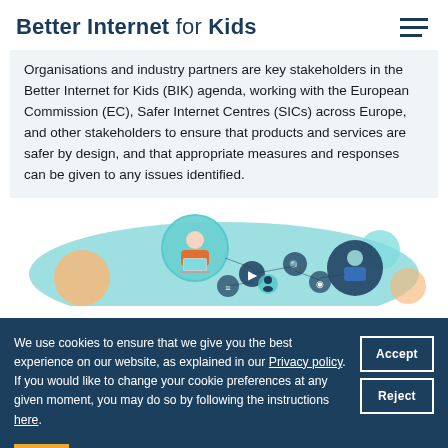Better Internet for Kids
Organisations and industry partners are key stakeholders in the Better Internet for Kids (BIK) agenda, working with the European Commission (EC), Safer Internet Centres (SICs) across Europe, and other stakeholders to ensure that products and services are safer by design, and that appropriate measures and responses can be given to any issues identified.
[Figure (illustration): Illustration of children and young people with laptops and digital icons connected by lines, representing digital connectivity and internet use, on a teal/aqua blob background with orange and teal circles.]
We use cookies to ensure that we give you the best experience on our website, as explained in our Privacy policy. If you would like to change your cookie preferences at any given moment, you may do so by following the instructions here.